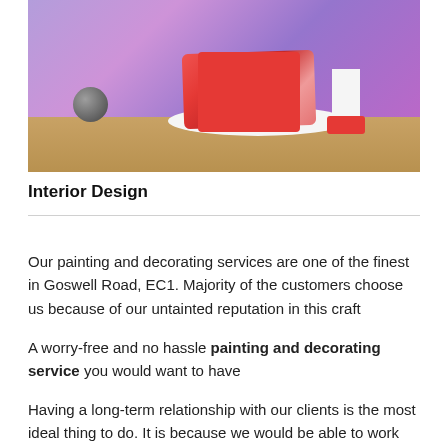[Figure (photo): Interior bedroom photo showing a purple/lavender room with a red bed and blanket, white circular rug, wooden floor, and a white chair with red cushion in the corner]
Interior Design
Our painting and decorating services are one of the finest in Goswell Road, EC1. Majority of the customers choose us because of our untainted reputation in this craft
A worry-free and no hassle painting and decorating service you would want to have
Having a long-term relationship with our clients is the most ideal thing to do. It is because we would be able to work with them smoothly as well as work with them for